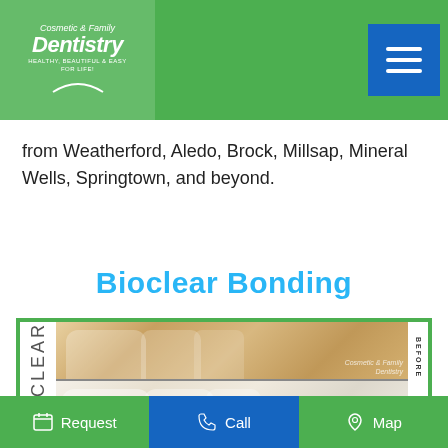Cosmetic & Family Dentistry — Healthy, Beautiful & Easy For Life!
from Weatherford, Aledo, Brock, Millsap, Mineral Wells, Springtown, and beyond.
Bioclear Bonding
[Figure (photo): Before and after dental bonding photos with BIOCLEAR branding label on the left and BEFORE/AFTER labels on the right. Top photo shows teeth before Bioclear bonding treatment; bottom photo shows teeth after treatment.]
Request   Call   Map